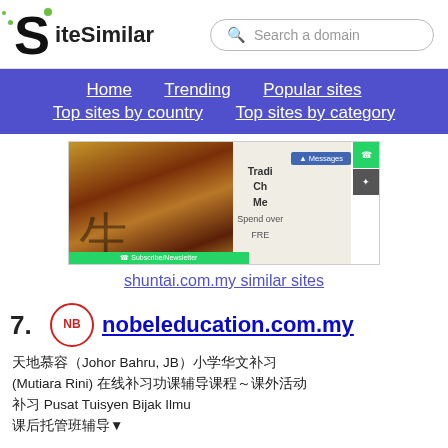SiteSimilar — Search a domain
Home | Trending | Popular sites | Top sites by country | Top sites by category
[Figure (screenshot): Screenshot of shuntai.com.my showing traditional Chinese medicine imagery with herbs, Chinese calligraphy characters, and text 'Traditional Chinese Medicine, Spend over FREE']
shuntai.com.my similar sites
7. nobeleducation.com.my
柔佛新山（Johor Bahru, JB）小学华文补习 (Mutiara Rini) 在线补习功课辅导课程～ 课外活动 补习 Pusat Tuisyen Bijak Ilmu 课后托管班辅导▼